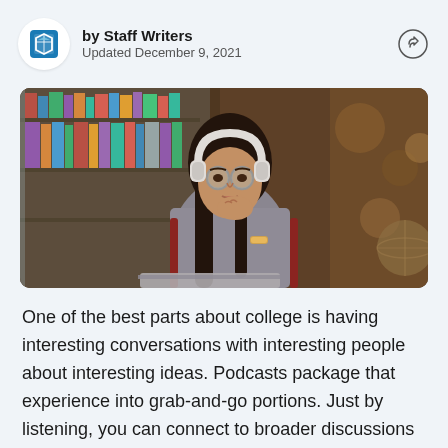by Staff Writers
Updated December 9, 2021
[Figure (photo): A young woman wearing white headphones and glasses sits in a library, resting her chin on her hand near an open laptop, with bookshelves in the background.]
One of the best parts about college is having interesting conversations with interesting people about interesting ideas. Podcasts package that experience into grab-and-go portions. Just by listening, you can connect to broader discussions and gain new